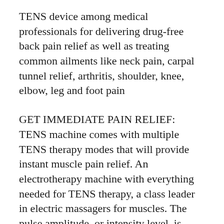TENS device among medical professionals for delivering drug-free back pain relief as well as treating common ailments like neck pain, carpal tunnel relief, arthritis, shoulder, knee, elbow, leg and foot pain
GET IMMEDIATE PAIN RELIEF: TENS machine comes with multiple TENS therapy modes that will provide instant muscle pain relief. An electrotherapy machine with everything needed for TENS therapy, a class leader in electric massagers for muscles. The pulse amplitude, or intensity level, is adjustable from 0-100mA in 10mA increments, which is controlled by the respective knobs located at the top of the device, for both channels